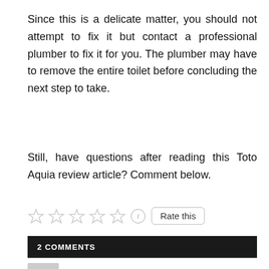Since this is a delicate matter, you should not attempt to fix it but contact a professional plumber to fix it for you. The plumber may have to remove the entire toilet before concluding the next step to take.
Still, have questions after reading this Toto Aquia review article? Comment below.
[Figure (other): Five empty star rating icons followed by an info icon and a 'Rate this' button]
2 COMMENTS
AnnMarie